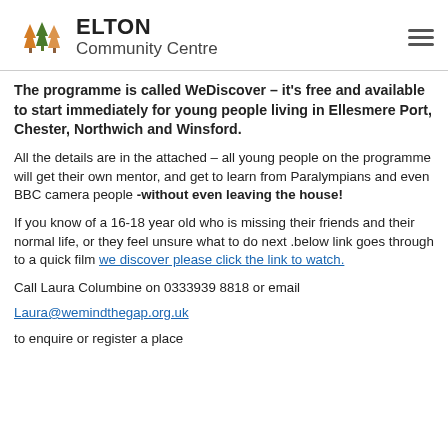ELTON Community Centre
The programme is called WeDiscover – it's free and available to start immediately for young people living in Ellesmere Port, Chester, Northwich and Winsford.
All the details are in the attached – all young people on the programme will get their own mentor, and get to learn from Paralympians and even BBC camera people -without even leaving the house!
If you know of a 16-18 year old who is missing their friends and their normal life, or they feel unsure what to do next .below link goes through to a quick film we discover please click the link to watch.
Call Laura Columbine on 0333939 8818 or email
Laura@wemindthegap.org.uk
to enquire or register a place